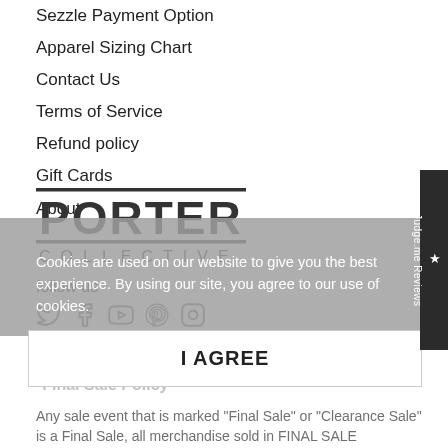Sezzle Payment Option
Apparel Sizing Chart
Contact Us
Terms of Service
Refund policy
Gift Cards
About
[Figure (logo): Porter Collective logo — large bold PORTER text with COLLECTIVE below, framed by two horizontal lines]
follow us
[Figure (infographic): Social media icons: Twitter, Facebook, YouTube, Pinterest, Instagram]
Cookies are used on our website to give you the best experience. By using our site, you agree to our use of cookies.
I AGREE
*Final Sale Policy
Any sale event that is marked "Final Sale" or "Clearance Sale" is a Final Sale, all merchandise sold in FINAL SALE